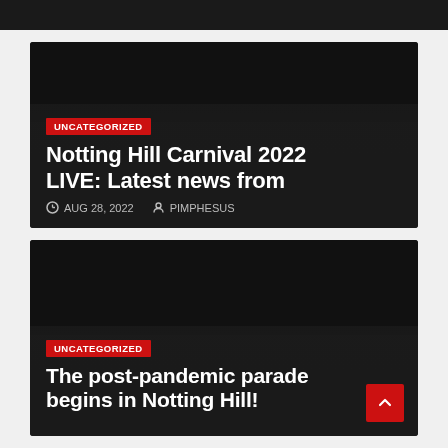[Figure (screenshot): Dark header/top bar of a website, partially cropped at top]
[Figure (screenshot): Article card with dark background, red UNCATEGORIZED badge, title 'Notting Hill Carnival 2022 LIVE: Latest news from', date AUG 28, 2022, author PIMPHESUS]
[Figure (screenshot): Article card with dark background, red UNCATEGORIZED badge, title 'The post-pandemic parade begins in Notting Hill!', with scroll-to-top red button]